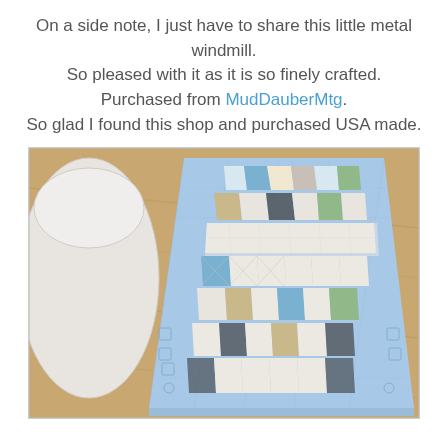On a side note, I just have to share this little metal windmill. So pleased with it as it is so finely crafted. Purchased from MudDauberMtg. So glad I found this shop and purchased USA made.
[Figure (photo): A patchwork quilt table runner with blue border and mixed colored squares (blue, green, gold, dark gray, white/cream) laid on a wooden surface, photographed from above at an angle. A white bowl or vase is partially visible on the left.]